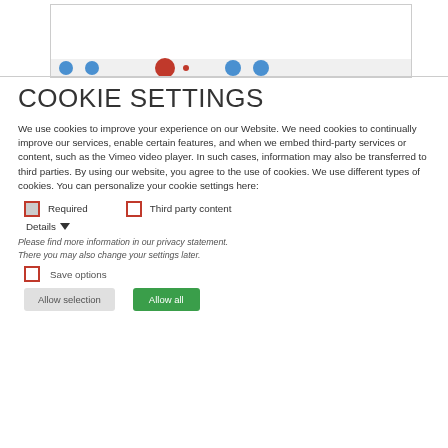[Figure (screenshot): Partial website screenshot with a bordered white box and a horizontal strip with circular icons at the bottom]
COOKIE SETTINGS
We use cookies to improve your experience on our Website. We need cookies to continually improve our services, enable certain features, and when we embed third-party services or content, such as the Vimeo video player. In such cases, information may also be transferred to third parties. By using our website, you agree to the use of cookies. We use different types of cookies. You can personalize your cookie settings here:
Required  [checked]    Third party content  [unchecked]
Details ▼
Please find more information in our privacy statement.
There you may also change your settings later.
Save options  [unchecked]
Allow selection    Allow all